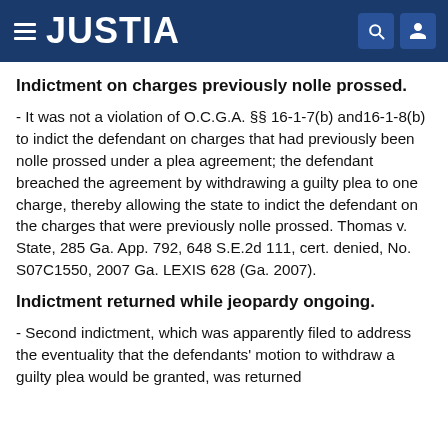JUSTIA
Indictment on charges previously nolle prossed.
- It was not a violation of O.C.G.A. §§ 16-1-7(b) and16-1-8(b) to indict the defendant on charges that had previously been nolle prossed under a plea agreement; the defendant breached the agreement by withdrawing a guilty plea to one charge, thereby allowing the state to indict the defendant on the charges that were previously nolle prossed. Thomas v. State, 285 Ga. App. 792, 648 S.E.2d 111, cert. denied, No. S07C1550, 2007 Ga. LEXIS 628 (Ga. 2007).
Indictment returned while jeopardy ongoing.
- Second indictment, which was apparently filed to address the eventuality that the defendants' motion to withdraw a guilty plea would be granted, was returned